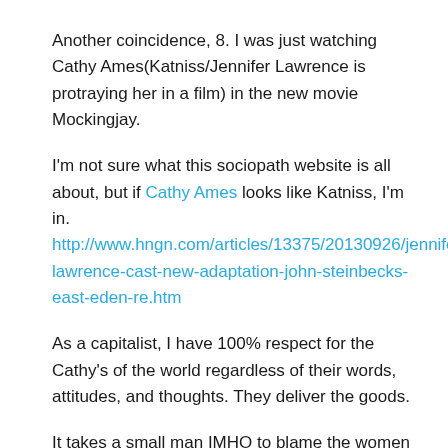Another coincidence, 8. I was just watching Cathy Ames(Katniss/Jennifer Lawrence is protraying her in a film) in the new movie Mockingjay.
I'm not sure what this sociopath website is all about, but if Cathy Ames looks like Katniss, I'm in. http://www.hngn.com/articles/13375/20130926/jennifer-lawrence-cast-new-adaptation-john-steinbecks-east-eden-re.htm
As a capitalist, I have 100% respect for the Cathy's of the world regardless of their words, attitudes, and thoughts. They deliver the goods.
It takes a small man IMHO to blame the women in his life for much of anything. Last I checked, women aren't killing, enslaving, and torturing people.